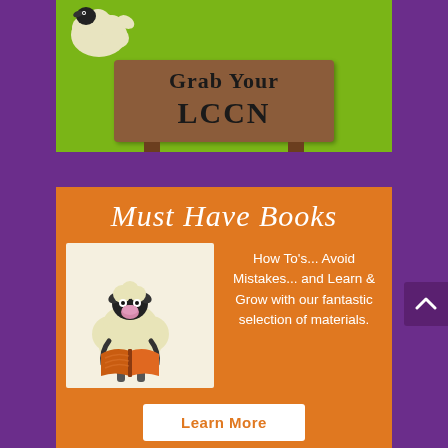[Figure (illustration): Green background banner with a cartoon sheep and a wooden sign reading 'Grab Your LCCN']
Must Have Books
[Figure (illustration): Cartoon sheep holding and reading an orange book, on a light background]
How To's... Avoid Mistakes... and Learn & Grow with our fantastic selection of materials.
Learn More